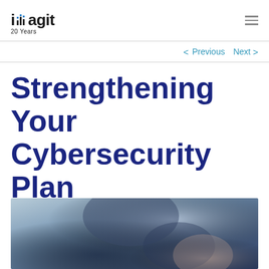imagit 20 Years
< Previous   Next >
Strengthening Your Cybersecurity Plan
[Figure (photo): Close-up photo of a person in a jacket, appearing to work or type, with a blurred background in blue-gray tones.]